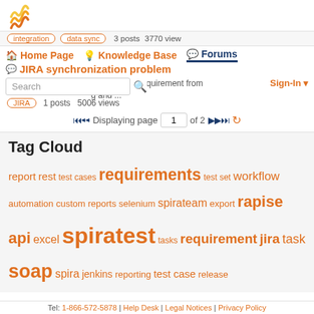[Figure (logo): Inflectra wavy lines logo in orange/yellow]
integration  data sync  3 posts  3770 view
Home Page  Knowledge Base  Forums  JIRA synchronization problem
Hi Question 1 hronize new requirement from g and ...
Search
Sign-In
JIRA  1 posts  5006 views
Displaying page 1 of 2
Tag Cloud
report rest test cases requirements test set workflow automation custom reports selenium spirateam export rapise api excel spiratest tasks requirement jira task soap spira jenkins reporting test case release
Tel: 1-866-572-5878 | Help Desk | Legal Notices | Privacy Policy